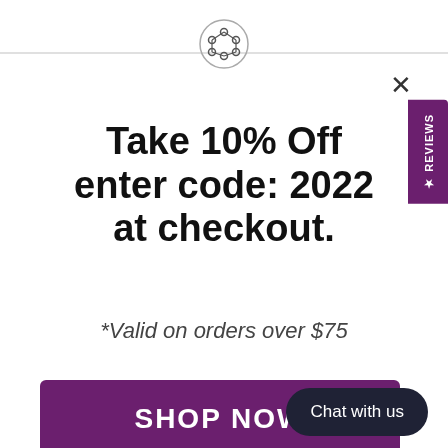[Figure (logo): Molecule/network icon in a circle at the top center]
Take 10% Off enter code: 2022 at checkout.
*Valid on orders over $75
SHOP NOW
Chat with us